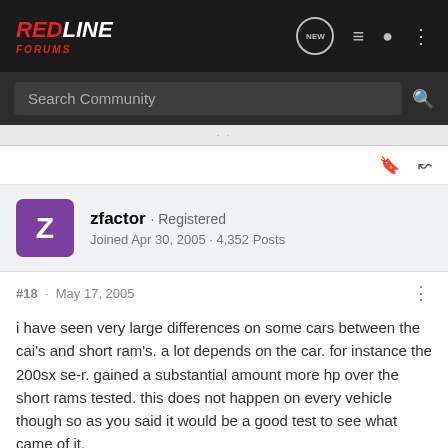RedLine Forums — navigation bar with logo, NEW chat icon, list icon, user icon, menu icon
Search Community
zfactor · Registered
Joined Apr 30, 2005 · 4,352 Posts
#18 · May 17, 2005
i have seen very large differences on some cars between the cai's and short ram's. a lot depends on the car. for instance the 200sx se-r. gained a substantial amount more hp over the short rams tested. this does not happen on every vehicle though so as you said it would be a good test to see what came of it.